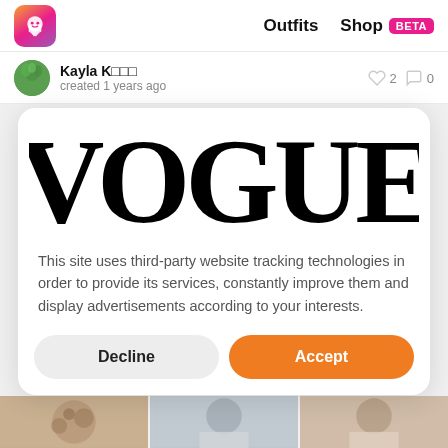[Figure (logo): App icon with octopus/squid logo on gradient pink-orange-purple background]
Outfits
Shop BETA
Kayla K□□□  created 1 years ago
[Figure (logo): VOGUE magazine logo in large serif font]
This site uses third-party website tracking technologies in order to provide its services, constantly improve them and display advertisements according to your interests.
Decline
Accept
[Figure (photo): Bottom strip showing partial cookie, person, and person2 thumbnails]